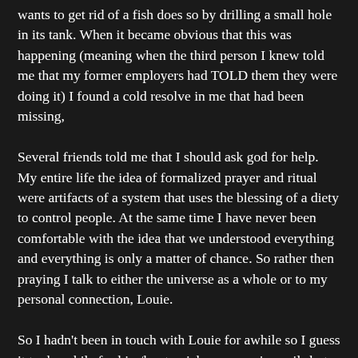wants to get rid of a fish does so by drilling a small hole in its tank.  When it became obvious that this was happening (meaning when the third person I knew told me that my former employers had TOLD them they were doing it) I found a cold resolve in me that had been missing,
Several friends told me that I should ask god for help.  My entire life the idea of formalized prayer and ritual were artifacts of a system that uses the blessing of a diety to control people.  At the same time I have never been comfortable with the idea that we understood everything and everything is only a matter of chance. So rather then praying I talk to either the universe as a whole or to my personal connection, Louie.
So I hadn't been in touch with Louie for awhile so I guess it took awhile for him/her to pick up my voicemails but they started to feed the questions